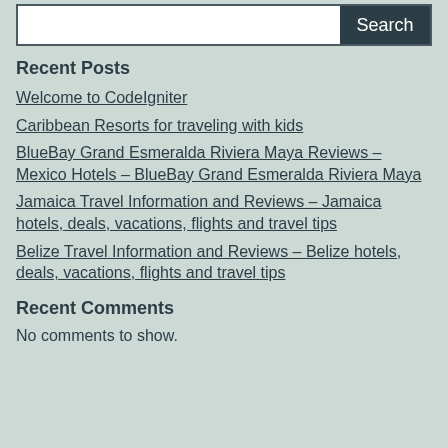[Figure (other): Search bar with white input field and dark Search button]
Recent Posts
Welcome to CodeIgniter
Caribbean Resorts for traveling with kids
BlueBay Grand Esmeralda Riviera Maya Reviews – Mexico Hotels – BlueBay Grand Esmeralda Riviera Maya
Jamaica Travel Information and Reviews – Jamaica hotels, deals, vacations, flights and travel tips
Belize Travel Information and Reviews – Belize hotels, deals, vacations, flights and travel tips
Recent Comments
No comments to show.